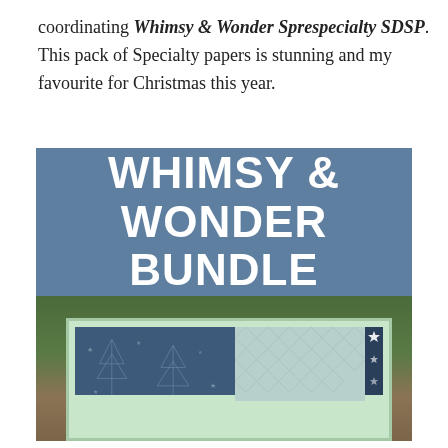coordinating Whimsy & Wonder Sprespecialty SDSP. This pack of Specialty papers is stunning and my favourite for Christmas this year.
[Figure (illustration): Promotional banner and photo for 'Whimsy & Wonder Bundle'. Top section shows a steel-blue banner with large white bold text reading 'WHIMSY & WONDER BUNDLE'. Below is a photograph of a handmade Christmas card featuring patterned paper panels (navy with stars/trees, mint with diamond pattern), holly and berries design, and the text 'WISHING YOU' visible at the bottom. Card is set against a garden/outdoor background.]